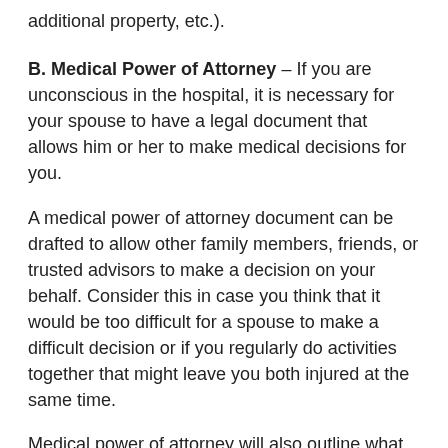additional property, etc.).
B. Medical Power of Attorney – If you are unconscious in the hospital, it is necessary for your spouse to have a legal document that allows him or her to make medical decisions for you.
A medical power of attorney document can be drafted to allow other family members, friends, or trusted advisors to make a decision on your behalf. Consider this in case you think that it would be too difficult for a spouse to make a difficult decision or if you regularly do activities together that might leave you both injured at the same time.
Medical power of attorney will also outline what you would like to happen regarding life-prolonging medical treatments if that need arises. These documents vary by state and only go into effect if you cannot make decisions on your own.